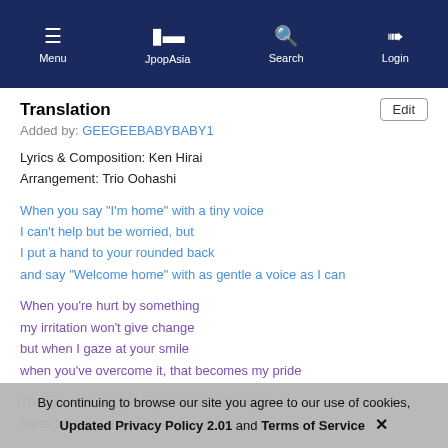Menu | JpopAsia | Search | Login
Translation
Added by: GEEGEEBABYBABY1
Lyrics & Composition: Ken Hirai
Arrangement: Trio Oohashi
When you say "I'm home" with a tiny voice
I can't help but be worried, but
I put a hand to your rounded back
and say "Welcome home" with as gentle a voice as I can
When you're hurt by something
my irritation won't give change
but when I gaze at your smile
when you've overcome it, that becomes my pride
Though what we get engrossed in changes
these feelings of getting engrossed won't change
By continuing to browse our site you agree to our use of cookies, Updated Privacy Policy 2.01 and Terms of Service ✕